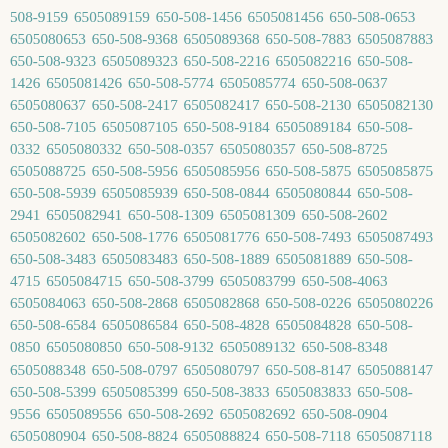508-9159 6505089159 650-508-1456 6505081456 650-508-0653 6505080653 650-508-9368 6505089368 650-508-7883 6505087883 650-508-9323 6505089323 650-508-2216 6505082216 650-508-1426 6505081426 650-508-5774 6505085774 650-508-0637 6505080637 650-508-2417 6505082417 650-508-2130 6505082130 650-508-7105 6505087105 650-508-9184 6505089184 650-508-0332 6505080332 650-508-0357 6505080357 650-508-8725 6505088725 650-508-5956 6505085956 650-508-5875 6505085875 650-508-5939 6505085939 650-508-0844 6505080844 650-508-2941 6505082941 650-508-1309 6505081309 650-508-2602 6505082602 650-508-1776 6505081776 650-508-7493 6505087493 650-508-3483 6505083483 650-508-1889 6505081889 650-508-4715 6505084715 650-508-3799 6505083799 650-508-4063 6505084063 650-508-2868 6505082868 650-508-0226 6505080226 650-508-6584 6505086584 650-508-4828 6505084828 650-508-0850 6505080850 650-508-9132 6505089132 650-508-8348 6505088348 650-508-0797 6505080797 650-508-8147 6505088147 650-508-5399 6505085399 650-508-3833 6505083833 650-508-9556 6505089556 650-508-2692 6505082692 650-508-0904 6505080904 650-508-8824 6505088824 650-508-7118 6505087118 650-508-6482 6505086482 650-508-8714 6505088714 650-508-8077 6505088077 650-508-9317 6505089317 650-508-8218 6505088218 650-508-2865 6505082865 650-508-7714 6505087714 650-508-0945 6505080945 650-508-4462 6505084462 650-508-5204 6505085204 650-508-6442 6505086442 650-508-4839 6505084839 650-508-3774 6505083774 650-508-9107 6505089107 650-508-3040 6505083040 650-508-6874 6505086874 650-508-4004 6505084004 650-508-5212 6505085212 650-508-2069 6505082069 650-508-6168 6505086168 650-508-3737